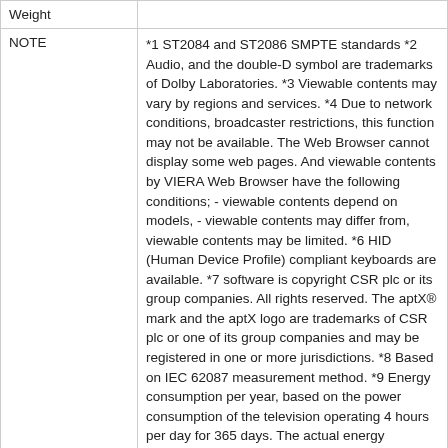| Label | Content |
| --- | --- |
| Weight |  |
| NOTE | *1 ST2084 and ST2086 SMPTE standards *2 Audio, and the double-D symbol are trademarks of Dolby Laboratories. *3 Viewable contents may vary by regions and services. *4 Due to network conditions, broadcaster restrictions, this function may not be available. The Web Browser cannot display some web pages. And viewable contents by VIERA Web Browser have the following conditions; - viewable contents depend on models, - viewable contents may differ from, viewable contents may be limited. *6 HID (Human Device Profile) compliant keyboards are available. *7 software is copyright CSR plc or its group companies. All rights reserved. The aptX® mark and the aptX logo are trademarks of CSR plc or one of its group companies and may be registered in one or more jurisdictions. *8 Based on IEC 62087 measurement method. *9 Energy consumption per year, based on the power consumption of the television operating 4 hours per day for 365 days. The actual energy consumption will depend on how the television is used. all the accessories are listed here. *11, 27, an |